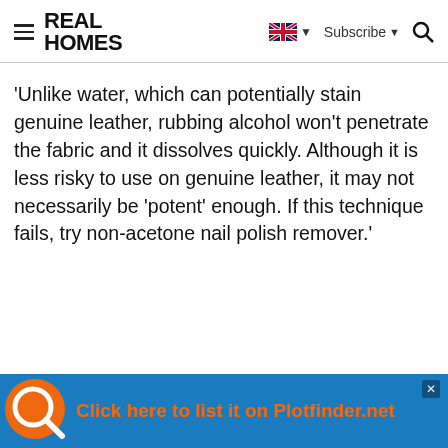REAL HOMES
'Unlike water, which can potentially stain genuine leather, rubbing alcohol won't penetrate the fabric and it dissolves quickly. Although it is less risky to use on genuine leather, it may not necessarily be 'potent' enough. If this technique fails, try non-acetone nail polish remover.'
[Figure (other): Advertisement banner: Click here to list it on Plotfinder.net, with orange text on blue background and a magnifying glass logo]